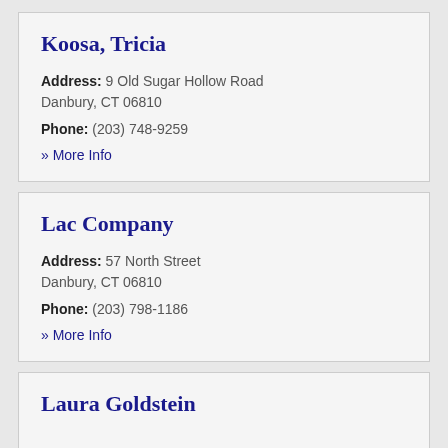Koosa, Tricia
Address: 9 Old Sugar Hollow Road Danbury, CT 06810
Phone: (203) 748-9259
» More Info
Lac Company
Address: 57 North Street Danbury, CT 06810
Phone: (203) 798-1186
» More Info
Laura Goldstein